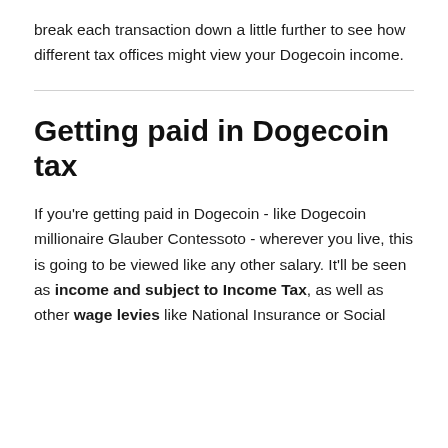break each transaction down a little further to see how different tax offices might view your Dogecoin income.
Getting paid in Dogecoin tax
If you're getting paid in Dogecoin - like Dogecoin millionaire Glauber Contessoto - wherever you live, this is going to be viewed like any other salary. It'll be seen as income and subject to Income Tax, as well as other wage levies like National Insurance or Social